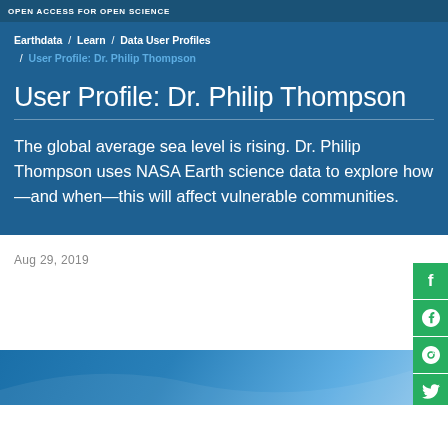OPEN ACCESS FOR OPEN SCIENCE
Earthdata / Learn / Data User Profiles / User Profile: Dr. Philip Thompson
User Profile: Dr. Philip Thompson
The global average sea level is rising. Dr. Philip Thompson uses NASA Earth science data to explore how—and when—this will affect vulnerable communities.
Aug 29, 2019